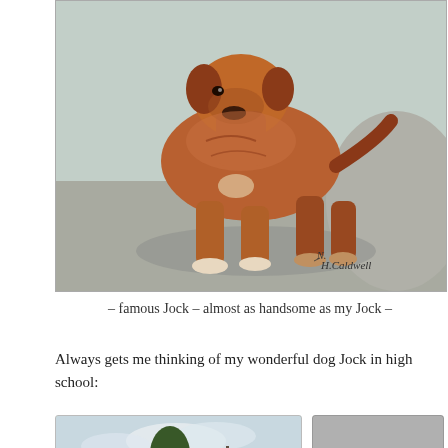[Figure (illustration): Painting of a large reddish-brown dog (bullmastiff type) standing in an outdoor setting with rocks and shadows, signed by artist H. Caldwell]
– famous Jock – almost as handsome as my Jock –
Always gets me thinking of my wonderful dog Jock in high school:
[Figure (photo): Two old photographs shown side by side at the bottom of the page. Left: a color photo showing trees, clouds and landscape. Right: a black and white photo showing a dog outdoors.]